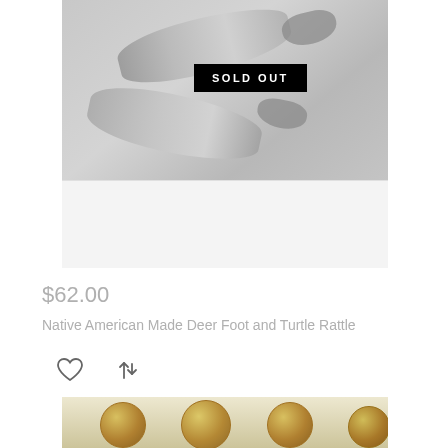[Figure (photo): Photo of two Native American deer foot rattles shown from below on a light gray background, with a black 'SOLD OUT' badge overlaid in the center of the image.]
SOLD OUT
$62.00
Native American Made Deer Foot and Turtle Rattle
[Figure (photo): Partial photo of several round painted turtle rattle balls with colorful Native American designs, shown on a light background.]